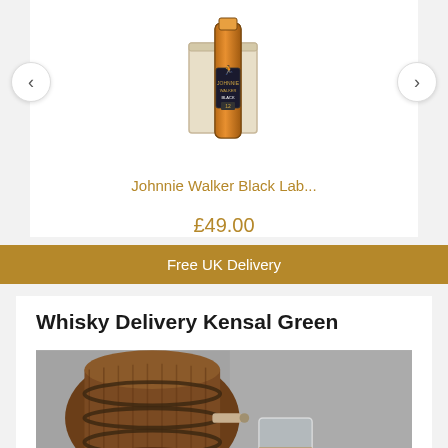[Figure (photo): Johnnie Walker Black Label whisky bottle with wooden gift box, product carousel with left and right navigation arrows]
Johnnie Walker Black Lab...
£49.00
Free UK Delivery
Whisky Delivery Kensal Green
[Figure (photo): Photo of a whisky barrel with a glass of whisky in the foreground, against a grey stone background]